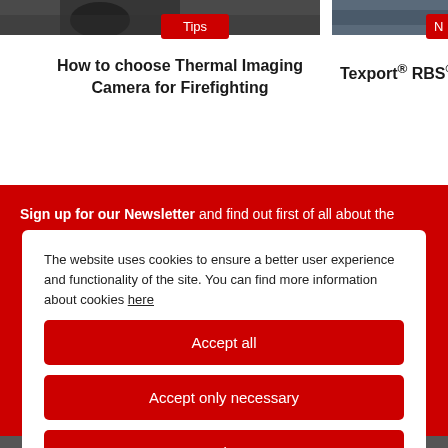[Figure (photo): Firefighter image cropped at top, partially visible]
Tips
How to choose Thermal Imaging Camera for Firefighting
N
Texport® RBS® R
Sign up for our Newsletter and find out first of all about the
The website uses cookies to ensure a better user experience and functionality of the site. You can find more information about cookies here
Accept all
Accept only necessary
Settings
[Figure (photo): Bottom strip image partially visible]